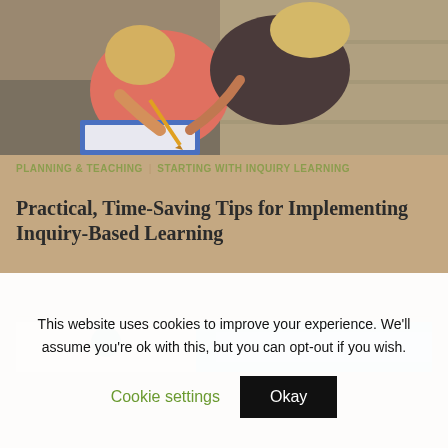[Figure (photo): Two young girls sitting on outdoor steps, one leaning over helping the other write in a notebook with a pencil]
PLANNING & TEACHING   STARTING WITH INQUIRY LEARNING
Practical, Time-Saving Tips for Implementing Inquiry-Based Learning
[Figure (photo): Partial photo of what appears to be a craft or science activity on a table]
This website uses cookies to improve your experience. We'll assume you're ok with this, but you can opt-out if you wish.
Cookie settings   Okay